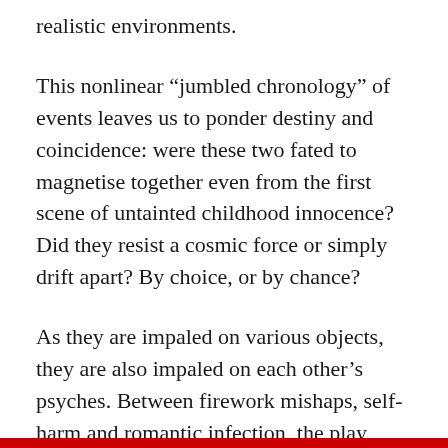realistic environments.
This nonlinear “jumbled chronology” of events leaves us to ponder destiny and coincidence: were these two fated to magnetise together even from the first scene of untainted childhood innocence? Did they resist a cosmic force or simply drift apart? By choice, or by chance?
As they are impaled on various objects, they are also impaled on each other’s psyches. Between firework mishaps, self-harm and romantic infection, the play draws us into this united lifetime of disaster and tells the story of how two people simply came to understand the